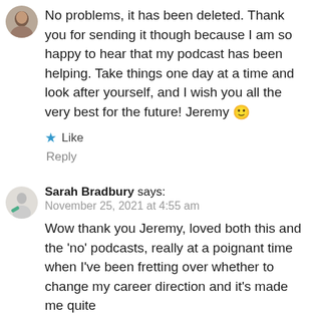[Figure (photo): Circular avatar photo of a person at the top left of the first comment block]
No problems, it has been deleted. Thank you for sending it though because I am so happy to hear that my podcast has been helping. Take things one day at a time and look after yourself, and I wish you all the very best for the future! Jeremy 🙂
★ Like
Reply
[Figure (photo): Circular avatar/placeholder image for Sarah Bradbury]
Sarah Bradbury says:
November 25, 2021 at 4:55 am
Wow thank you Jeremy, loved both this and the 'no' podcasts, really at a poignant time when I've been fretting over whether to change my career direction and it's made me quite